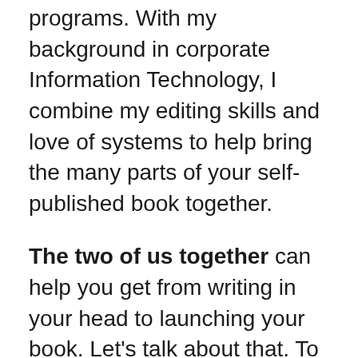programs. With my background in corporate Information Technology, I combine my editing skills and love of systems to help bring the many parts of your self-published book together.
The two of us together can help you get from writing in your head to launching your book. Let's talk about that. To explore how the process works and schedule your no-pressure, non-salesy, free consult, click here to provide us with some information about your book and we'll contact you to schedule your call.